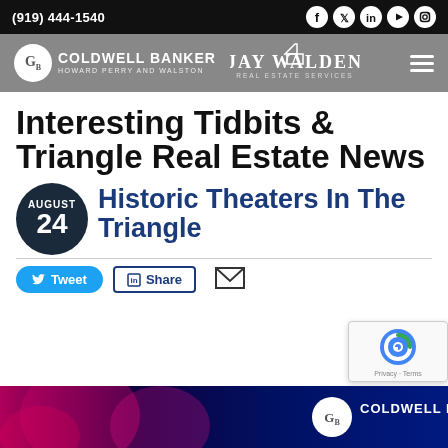(919) 444-1540
[Figure (logo): Coldwell Banker Howard Perry and Walston logo with Jay Walden Real Estate Services logo and hamburger menu]
Interesting Tidbits & Triangle Real Estate News
Historic Theaters In The Triangle
AUGUST 24
Tweet | Share | Email
[Figure (photo): Bottom strip showing pink and blue bokeh background with Coldwell Banker logo]